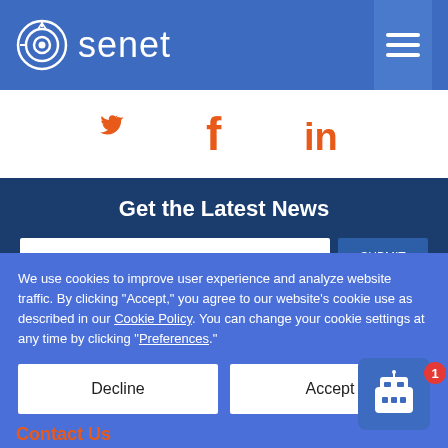senet
[Figure (logo): Senet logo with circular antenna icon and wordmark]
Social media icons: Twitter, Facebook, LinkedIn
Get the Latest News
We use cookies to improve user experience and analyze website traffic. By clicking "Accept," you agree to our website's cookie use as described in our Cookie Policy. You can change your cookie settings at any time by clicking "Preferences."
Decline | Accept | Preferences
Contact Us
[Figure (illustration): Chat robot widget with notification badge showing 1]